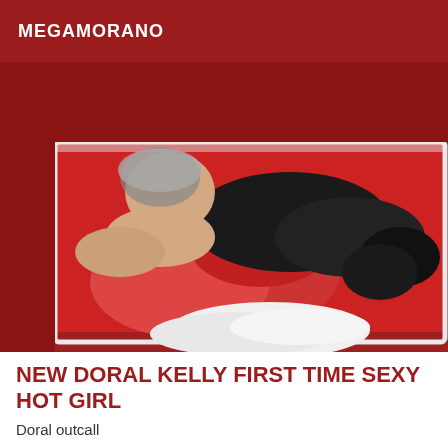MEGAMORANO
[Figure (photo): Person lying on a red surface wearing black top and red tights with black shoes]
NEW DORAL KELLY FIRST TIME SEXY HOT GIRL
Doral outcall